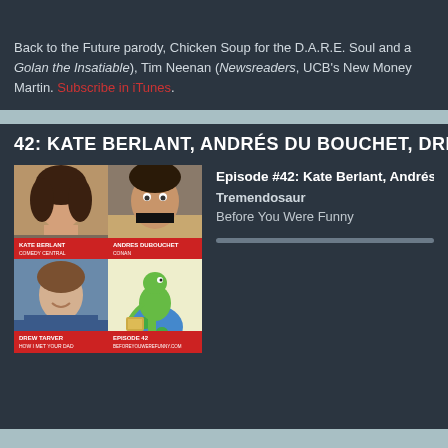Back to the Future parody, Chicken Soup for the D.A.R.E. Soul and a... Golan the Insatiable), Tim Neenan (Newsreaders, UCB's New Money... Martin. Subscribe in iTunes.
42: KATE BERLANT, ANDRÉS DU BOUCHET, DREW TARVER...
[Figure (photo): Four-panel podcast episode artwork showing Kate Berlant (woman with curly hair), Andres Dubouchet (man with tape over mouth), Drew Tarver (young man smiling), and a cartoon dinosaur. Labels visible: KATE BERLANT COMEDY CENTRAL, ANDRES DUBOUCHET, DREW TARVER, EPISODE 42.]
Episode #42: Kate Berlant, Andrés du... Tremendosaur Before You Were Funny